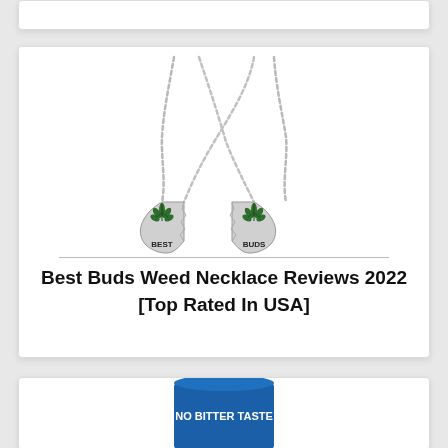[Figure (photo): Two silver best buds weed necklaces with cannabis leaf pendants spelling BEST and BUDS on broken heart halves, displayed crossed over each other on white background]
Best Buds Weed Necklace Reviews 2022 [Top Rated In USA]
[Figure (photo): Partial view of a blue cylindrical product container with text 'NO BITTER TASTE' visible at the top]